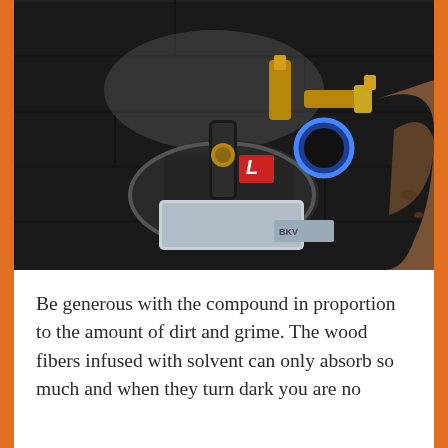[Figure (photo): Close-up photo of a mechanical assembly or tool (possibly a grinder or polisher with brass fittings and a blue ring) placed on a dark wood-plank floor. There is a red label visible on part of the equipment.]
Be generous with the compound in proportion to the amount of dirt and grime. The wood fibers infused with solvent can only absorb so much and when they turn dark you are no